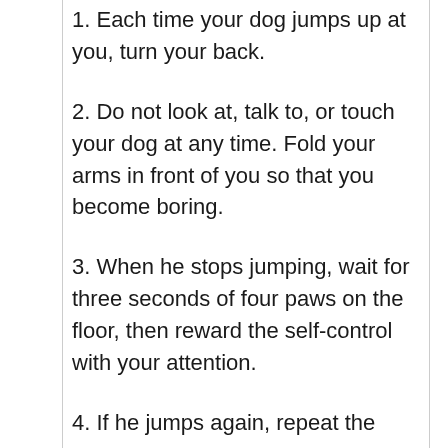1. Each time your dog jumps up at you, turn your back.
2. Do not look at, talk to, or touch your dog at any time. Fold your arms in front of you so that you become boring.
3. When he stops jumping, wait for three seconds of four paws on the floor, then reward the self-control with your attention.
4. If he jumps again, repeat the